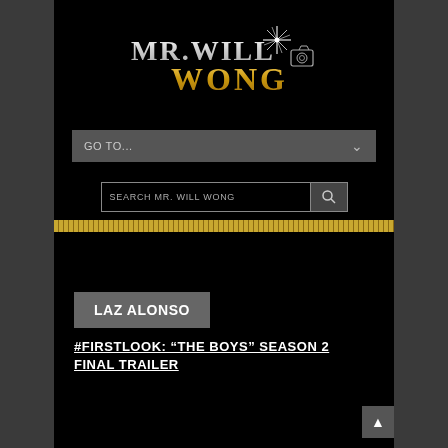[Figure (logo): Mr. Will Wong logo — stylized text with gold 'WONG' and silver 'MR. WILL' with a starburst and camera icon]
GO TO...
SEARCH MR. WILL WONG
LAZ ALONSO
#FIRSTLOOK: “THE BOYS” SEASON 2 FINAL TRAILER